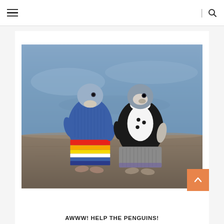≡  |  🔍
[Figure (photo): Two small penguins wearing knitted sweaters sitting on a rocky surface with blurred blue water in the background. The left penguin wears a blue sweater with colorful orange, yellow, red, and white horizontal stripes at the bottom. The right penguin wears a black and white sweater with a grey knitted skirt.]
AWWW! HELP THE PENGUINS!